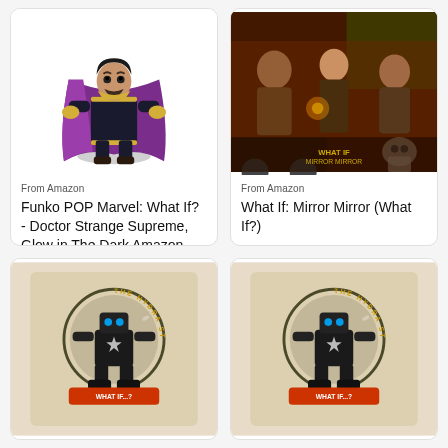[Figure (photo): Funko POP Doctor Strange Supreme figure floating in purple and gold costume]
From Amazon
Funko POP Marvel: What If? - Doctor Strange Supreme, Glow in The Dark Amazon Exclusive Edition
[Figure (photo): Comic book cover art for What If: Mirror Mirror showing noir style scene with multiple characters]
From Amazon
What If: Mirror Mirror (What If?)
[Figure (photo): The Hydra Stomper enamel pin in box with What If...? branding on beige backing card]
[Figure (photo): The Hydra Stomper enamel pin in box with What If...? branding on beige backing card (second listing)]